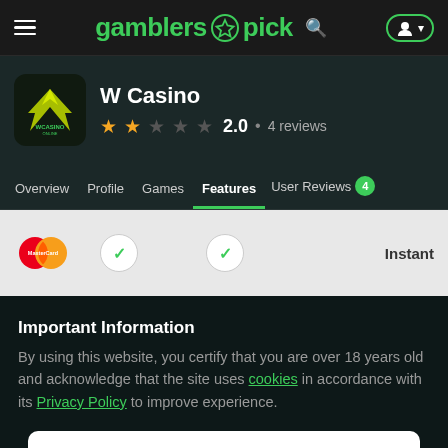gamblers pick
W Casino
2.0  •  4 reviews
Overview  Profile  Games  Features  User Reviews 4
[Figure (logo): MasterCard logo with two overlapping circles (red and orange) with MasterCard text]
Instant
Important Information
By using this website, you certify that you are over 18 years old and acknowledge that the site uses cookies in accordance with its Privacy Policy to improve experience.
✔ I accept